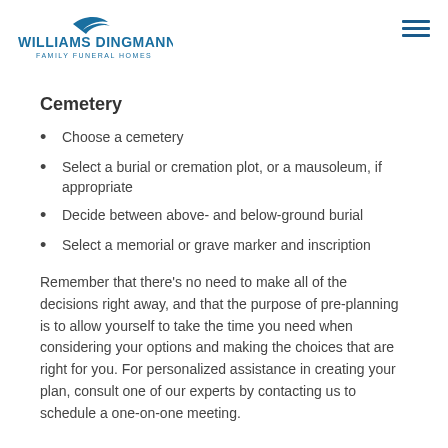Williams Dingmann Family Funeral Homes
Cemetery
Choose a cemetery
Select a burial or cremation plot, or a mausoleum, if appropriate
Decide between above- and below-ground burial
Select a memorial or grave marker and inscription
Remember that there’s no need to make all of the decisions right away, and that the purpose of pre-planning is to allow yourself to take the time you need when considering your options and making the choices that are right for you. For personalized assistance in creating your plan, consult one of our experts by contacting us to schedule a one-on-one meeting.